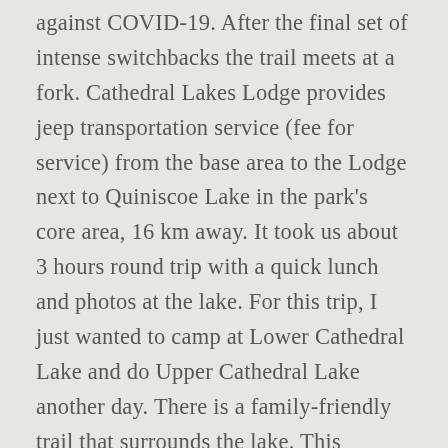against COVID-19. After the final set of intense switchbacks the trail meets at a fork. Cathedral Lakes Lodge provides jeep transportation service (fee for service) from the base area to the Lodge next to Quiniscoe Lake in the park's core area, 16 km away. It took us about 3 hours round trip with a quick lunch and photos at the lake. For this trip, I just wanted to camp at Lower Cathedral Lake and do Upper Cathedral Lake another day. There is a family-friendly trail that surrounds the lake. This campground overlooks the grand Cathedral Valley area in remote northern Capitol Reef National Park. Camping at Cathedral Lake near Aspen, Colorado Affiliate Disclaimer: As an Amazon Associate, EXPLORIST.life earns from qualifying